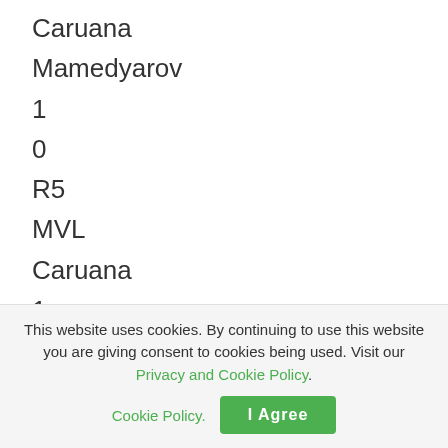Caruana
Mamedyarov
1
0
R5
MVL
Caruana
1
0
R4
So
Nepo
1
0
This website uses cookies. By continuing to use this website you are giving consent to cookies being used. Visit our Privacy and Cookie Policy.